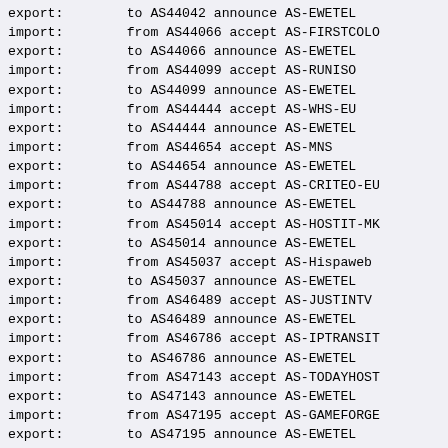export:        to AS44042 announce AS-EWETEL
import:        from AS44066 accept AS-FIRSTCOLO
export:        to AS44066 announce AS-EWETEL
import:        from AS44099 accept AS-RUNISO
export:        to AS44099 announce AS-EWETEL
import:        from AS44444 accept AS-WHS-EU
export:        to AS44444 announce AS-EWETEL
import:        from AS44654 accept AS-MNS
export:        to AS44654 announce AS-EWETEL
import:        from AS44788 accept AS-CRITEO-EU
export:        to AS44788 announce AS-EWETEL
import:        from AS45014 accept AS-HOSTIT-MK
export:        to AS45014 announce AS-EWETEL
import:        from AS45037 accept AS-Hispaweb
export:        to AS45037 announce AS-EWETEL
import:        from AS46489 accept AS-JUSTINTV
export:        to AS46489 announce AS-EWETEL
import:        from AS46786 accept AS-IPTRANSIT
export:        to AS46786 announce AS-EWETEL
import:        from AS47143 accept AS-TODAYHOST
export:        to AS47143 announce AS-EWETEL
import:        from AS47195 accept AS-GAMEFORGE
export:        to AS47195 announce AS-EWETEL
import:        from AS47215 accept AS-FILOO
export:        to AS47215 announce AS-EWETEL
import:        from AS47869 accept AS-NETROUTING
export:        to AS47869 announce AS-EWETEL
import:        from AS48173 accept AS-UNBELIEVABLE
export:        to AS48173 announce AS-EWETEL
import:        from AS49544 accept AS-INTERACTIVE3D
export:        to AS49544 announce AS-EWETEL
import:        from AS49562 accept AS-XMS
export:        to AS49562 announce AS-EWETEL
import:        from AS49820 accept AS-PICTURA-NET
export:        to AS49820 announce AS-EWETEL
import:        from AS50189 accept AS-PBXNET
export:        to AS50189 announce AS-EWETEL
import:        from AS50472 accept AS-CHAOS